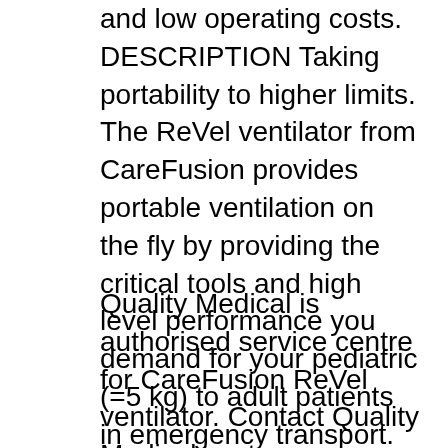and low operating costs. DESCRIPTION Taking portability to higher limits. The ReVel ventilator from CareFusion provides portable ventilation on the fly by providing the critical tools and high level performance you demand for your pediatric (=5 kg) to adult patients in emergency transport.
Quality Medical is authorised service centre for CareFusion ReVel ventilator. Contact Quality Medical customer support 727-547-6000 for more information about ReVel Ventilator. Why CareFusion ReVel Ventilator? ReVel ventilator moves easily with the patient in transport. The hot exchangeable, four-hour battery provides